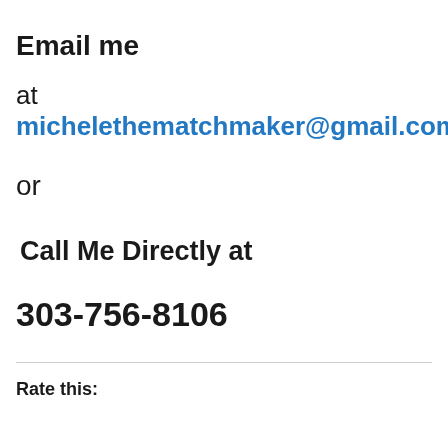Email me
at michelethematchmaker@gmail.com
or
Call Me Directly at
303-756-8106
Rate this: